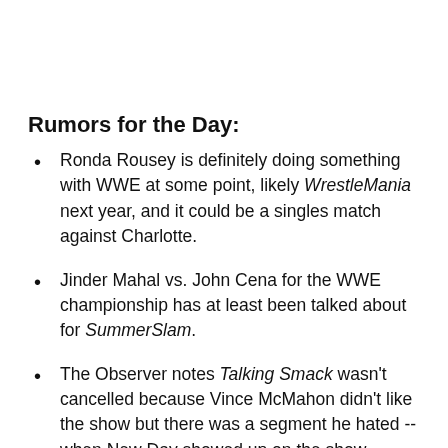Rumors for the Day:
Ronda Rousey is definitely doing something with WWE at some point, likely WrestleMania next year, and it could be a singles match against Charlotte.
Jinder Mahal vs. John Cena for the WWE championship has at least been talked about for SummerSlam.
The Observer notes Talking Smack wasn't cancelled because Vince McMahon didn't like the show but there was a segment he hated -- when New Day showed up on the show before ever appearing on SmackDown Live.